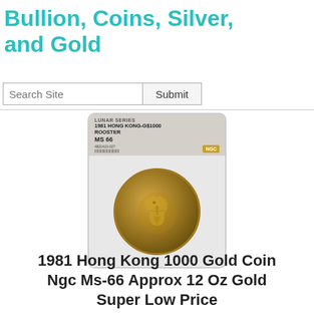Bullion, Coins, Silver, and Gold
[Figure (photo): NGC-graded coin slab showing a 1981 Hong Kong $1000 Lunar Series Rooster gold coin, MS-66 grade, with a gold-toned coin visible in the lower half of the slab.]
1981 Hong Kong 1000 Gold Coin Ngc Ms-66 Approx 12 Oz Gold Super Low Price